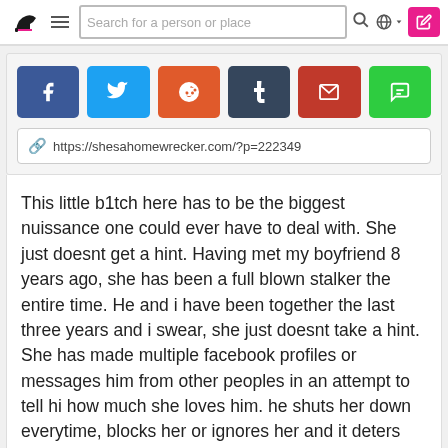Navigation bar with logo, hamburger menu, search box, globe icon, and edit button
[Figure (screenshot): Social share buttons: Facebook, Twitter, Reddit, Tumblr, Email, Chat]
https://shesahomewrecker.com/?p=222349
This little b1tch here has to be the biggest nuissance one could ever have to deal with. She just doesnt get a hint. Having met my boyfriend 8 years ago, she has been a full blown stalker the entire time. He and i have been together the last three years and i swear, she just doesnt take a hint. She has made multiple facebook profiles or messages him from other peoples in an attempt to tell hi how much she loves him. he shuts her down everytime, blocks her or ignores her and it deters her not. She knows he has a girlfriend, ive even taken the time to reach out to her and tell her to get lost. But this sl00t puppy doesnt get it. She thinks that she has a “special connection” with him. That they will “be together” forever and she seemingly doesnt